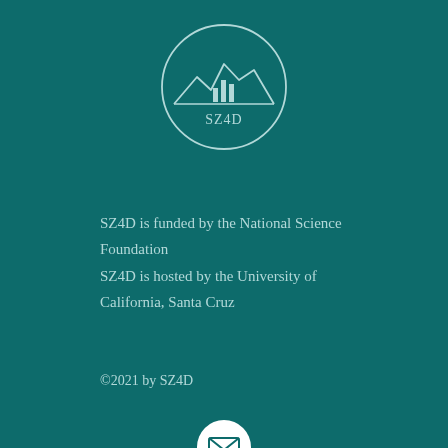[Figure (logo): SZ4D circular logo with mountain/coastline silhouette and bar chart icons, white on teal background]
SZ4D is funded by the National Science Foundation
SZ4D is hosted by the University of California, Santa Cruz
©2021 by SZ4D
[Figure (other): Email icon - white circle with envelope]
[Figure (other): Twitter icon - white circle with Twitter bird]
[Figure (other): YouTube icon - white circle with play button]